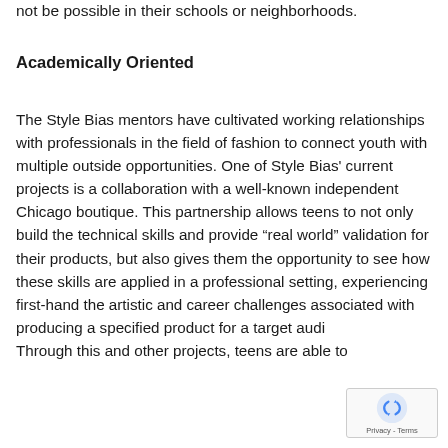not be possible in their schools or neighborhoods.
Academically Oriented
The Style Bias mentors have cultivated working relationships with professionals in the field of fashion to connect youth with multiple outside opportunities. One of Style Bias' current projects is a collaboration with a well-known independent Chicago boutique. This partnership allows teens to not only build the technical skills and provide “real world” validation for their products, but also gives them the opportunity to see how these skills are applied in a professional setting, experiencing first-hand the artistic and career challenges associated with producing a specified product for a target audi… Through this and other projects, teens are able to
[Figure (other): reCAPTCHA widget overlay with recycling-arrow logo and Privacy - Terms text]